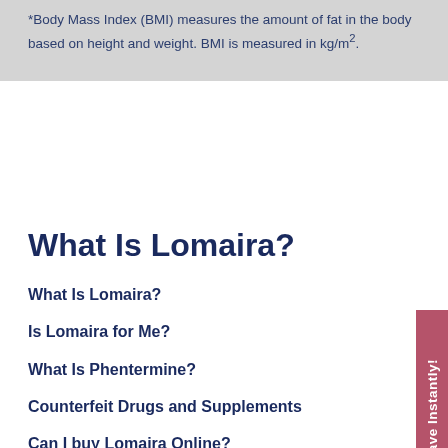*Body Mass Index (BMI) measures the amount of fat in the body based on height and weight. BMI is measured in kg/m².
What Is Lomaira?
What Is Lomaira?
Is Lomaira for Me?
What Is Phentermine?
Counterfeit Drugs and Supplements
Can I buy Lomaira Online?
Testimonials